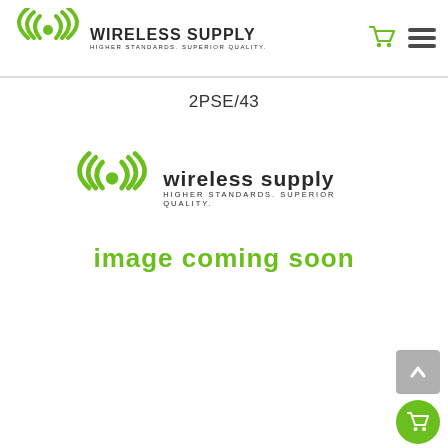[Figure (logo): Wireless Supply logo with green signal icon and text: WIRELESS SUPPLY HIGHER STANDARDS. SUPERIOR QUALITY. in header]
2PSE/43
[Figure (illustration): Wireless Supply logo with green signal icon and text: WIRELESS SUPPLY HIGHER STANDARDS. SUPERIOR QUALITY. followed by 'image coming soon' in green text]
[Figure (other): Scroll-to-top button (gray square with upward arrow) and shopping cart circle button (green) at bottom right]